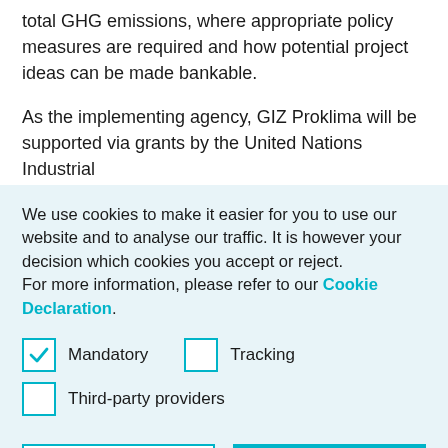total GHG emissions, where appropriate policy measures are required and how potential project ideas can be made bankable.
As the implementing agency, GIZ Proklima will be supported via grants by the United Nations Industrial
We use cookies to make it easier for you to use our website and to analyse our traffic. It is however your decision which cookies you accept or reject. For more information, please refer to our Cookie Declaration.
Mandatory
Tracking
Third-party providers
Confirm selection | Accept all